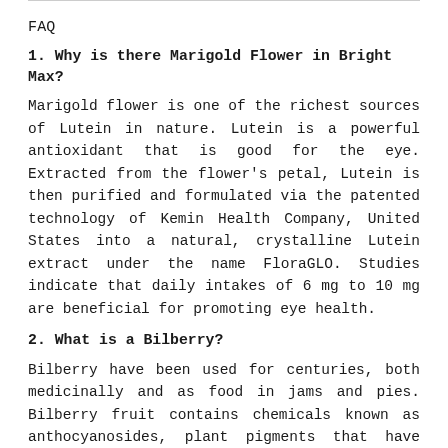FAQ
1. Why is there Marigold Flower in Bright Max?
Marigold flower is one of the richest sources of Lutein in nature. Lutein is a powerful antioxidant that is good for the eye. Extracted from the flower's petal, Lutein is then purified and formulated via the patented technology of Kemin Health Company, United States into a natural, crystalline Lutein extract under the name FloraGLO. Studies indicate that daily intakes of 6 mg to 10 mg are beneficial for promoting eye health.
2. What is a Bilberry?
Bilberry have been used for centuries, both medicinally and as food in jams and pies. Bilberry fruit contains chemicals known as anthocyanosides, plant pigments that have excellent antioxidant properties. Bilberry also contains vitamin A and C, which are antioxidants that help to prevent free radical damage